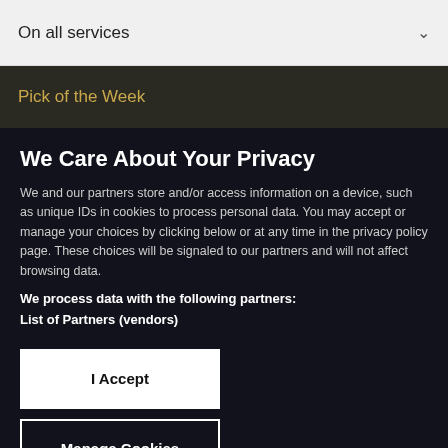On all services
Pick of the Week
We Care About Your Privacy
We and our partners store and/or access information on a device, such as unique IDs in cookies to process personal data. You may accept or manage your choices by clicking below or at any time in the privacy policy page. These choices will be signaled to our partners and will not affect browsing data.
We process data with the following partners:
List of Partners (vendors)
I Accept
Manage Cookies